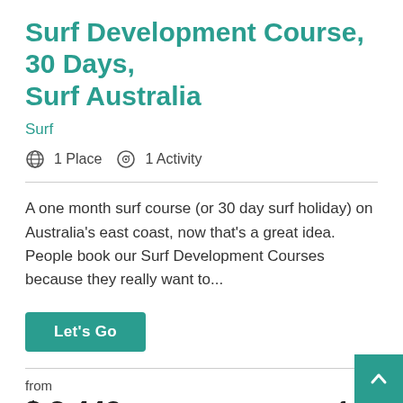Surf Development Course, 30 Days, Surf Australia
Surf
1 Place   1 Activity
A one month surf course (or 30 day surf holiday) on Australia's east coast, now that's a great idea. People book our Surf Development Courses because they really want to...
Let's Go
from
$ 2,443